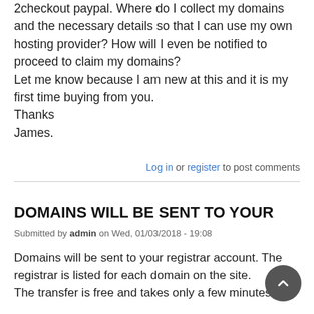2checkout paypal. Where do I collect my domains and the necessary details so that I can use my own hosting provider? How will I even be notified to proceed to claim my domains?
Let me know because I am new at this and it is my first time buying from you.
Thanks
James.
Log in or register to post comments
DOMAINS WILL BE SENT TO YOUR
Submitted by admin on Wed, 01/03/2018 - 19:08
Domains will be sent to your registrar account. The registrar is listed for each domain on the site.
The transfer is free and takes only a few minutes.

After the domain is sent to you, you will be a